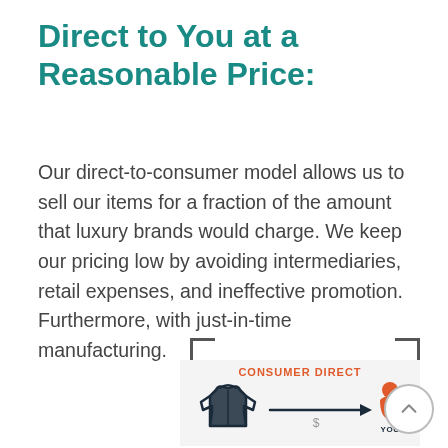Direct to You at a Reasonable Price:
Our direct-to-consumer model allows us to sell our items for a fraction of the amount that luxury brands would charge. We keep our pricing low by avoiding intermediaries, retail expenses, and ineffective promotion. Furthermore, with just-in-time manufacturing.
[Figure (infographic): Consumer direct diagram showing a jacket icon on the left with an arrow labeled '$' pointing right to a person icon labeled 'YOU', with 'CONSUMER DIRECT' label above the arrow. Bracket corners frame the top of the diagram area.]